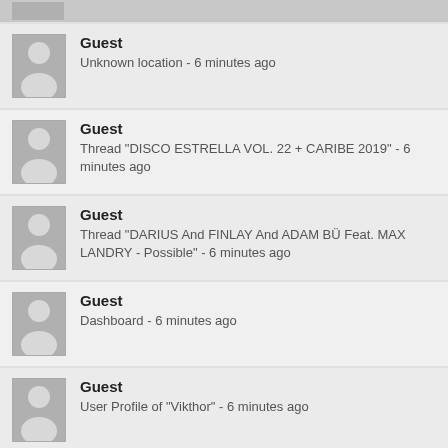Guest - (partial, top cropped)
Guest - Unknown location - 6 minutes ago
Guest - Thread "DISCO ESTRELLA VOL. 22 + CARIBE 2019" - 6 minutes ago
Guest - Thread "DARIUS And FINLAY And ADAM BÜ Feat. MAX LANDRY - Possible" - 6 minutes ago
Guest - Dashboard - 6 minutes ago
Guest - User Profile of "Vikthor" - 6 minutes ago
Guest - Thread "DISCO ROJO 2014" - 6 minutes ago
Guest - (partial, bottom cropped)